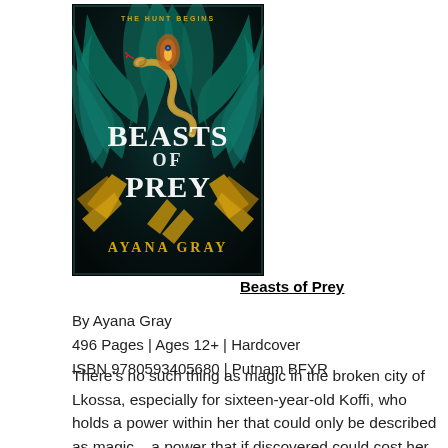[Figure (illustration): Book cover of 'Beasts of Prey' by Ayana Gray. Dark background with tropical foliage (palm leaves in teal/green), a snake with golden markings, golden fan-like shapes, and a bird. Text at top reads 'THE HUNT BEGINS' in small gold letters. Large white serif text reads 'BEASTS OF PREY'. Author name 'AYANA GRAY' in gold at bottom.]
Beasts of Prey
By Ayana Gray
496 Pages | Ages 12+ | Hardcover
ISBN 9780593405680 | Putnam BFYR
There's no such thing as magic in the broken city of Lkossa, especially for sixteen-year-old Koffi, who holds a power within her that could only be described as magic – a power that if discovered could cost her life. Indentured to the notorious Night Zoo, Koffi knows the fearsome creatures in her care and paying off her family's debts to